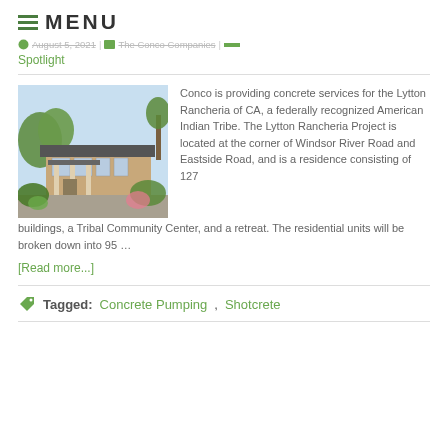MENU
August 5, 2021 | The Conco Companies | Spotlight
[Figure (photo): Architectural rendering of a single-story residential building with a flat/low-pitched roof, large windows, brick/wood exterior, and surrounding landscaping with trees and shrubs, set against a light blue sky.]
Conco is providing concrete services for the Lytton Rancheria of CA, a federally recognized American Indian Tribe. The Lytton Rancheria Project is located at the corner of Windsor River Road and Eastside Road, and is a residence consisting of 127 buildings, a Tribal Community Center, and a retreat. The residential units will be broken down into 95 …
[Read more...]
Tagged: Concrete Pumping, Shotcrete